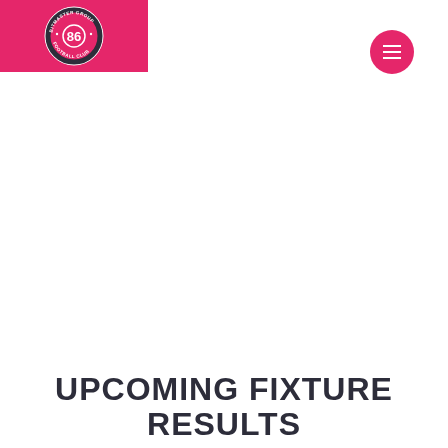[Figure (logo): Bitmaster Group Football Club circular logo with pink/magenta background on header bar. Logo shows a football with '86' text inside a circular badge with club name around the ring.]
[Figure (other): Pink circular menu button with three horizontal white lines (hamburger icon) in the top right corner.]
UPCOMING FIXTURE RESULTS